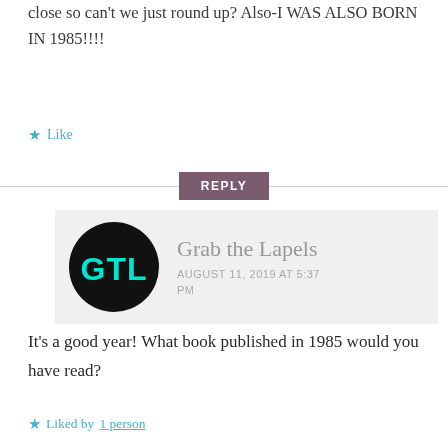close so can't we just round up? Also-I WAS ALSO BORN IN 1985!!!!
Like
REPLY
[Figure (logo): Circular black logo with cyan/teal 'GTL' text - Grab the Lapels blog logo]
Grab the Lapels
AUGUST 11, 2019 AT 5:37 PM
It's a good year! What book published in 1985 would you have read?
Liked by 1 person